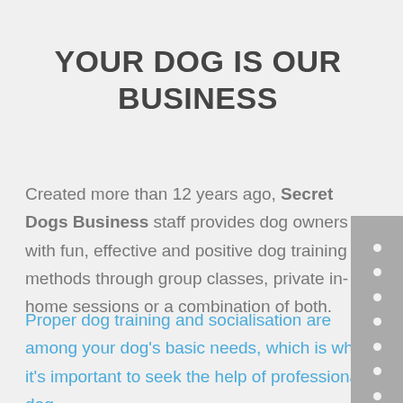YOUR DOG IS OUR BUSINESS
Created more than 12 years ago, Secret Dogs Business staff provides dog owners with fun, effective and positive dog training methods through group classes, private in-home sessions or a combination of both.
Proper dog training and socialisation are among your dog's basic needs, which is why it's important to seek the help of professional dog